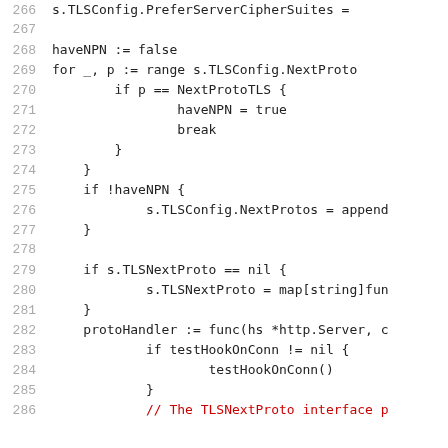266	s.TLSConfig.PreferServerCipherSuites =
267
268	haveNPN := false
269	for _, p := range s.TLSConfig.NextProto
270		if p == NextProtoTLS {
271			haveNPN = true
272			break
273		}
274	}
275	if !haveNPN {
276		s.TLSConfig.NextProtos = append
277	}
278
279	if s.TLSNextProto == nil {
280		s.TLSNextProto = map[string]fun
281	}
282	protoHandler := func(hs *http.Server, c
283		if testHookOnConn != nil {
284			testHookOnConn()
285		}
286		// The TLSNextProto interface p